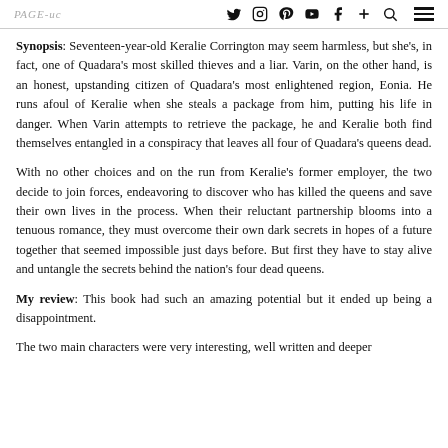Social media icons: twitter, instagram, pinterest, youtube, facebook, plus, search, hamburger menu
Synopsis: Seventeen-year-old Keralie Corrington may seem harmless, but she's, in fact, one of Quadara's most skilled thieves and a liar. Varin, on the other hand, is an honest, upstanding citizen of Quadara's most enlightened region, Eonia. He runs afoul of Keralie when she steals a package from him, putting his life in danger. When Varin attempts to retrieve the package, he and Keralie both find themselves entangled in a conspiracy that leaves all four of Quadara's queens dead.
With no other choices and on the run from Keralie's former employer, the two decide to join forces, endeavoring to discover who has killed the queens and save their own lives in the process. When their reluctant partnership blooms into a tenuous romance, they must overcome their own dark secrets in hopes of a future together that seemed impossible just days before. But first they have to stay alive and untangle the secrets behind the nation's four dead queens.
My review: This book had such an amazing potential but it ended up being a disappointment.
The two main characters were very interesting, well written and deeper